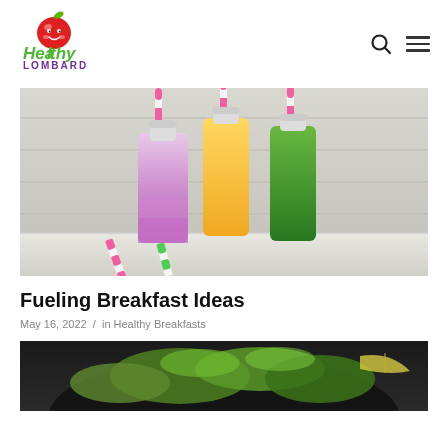[Figure (logo): Healthy Lombard logo with cartoon apple and green/purple text]
Fueling Breakfast Ideas
May 16, 2022  /  in Healthy Breakfasts
[Figure (photo): Three colorful smoothie bottles with pink striped straws — purple, orange, and green smoothies on a white wood background]
[Figure (photo): Partial view of a dark bowl with green salad and vegetables]